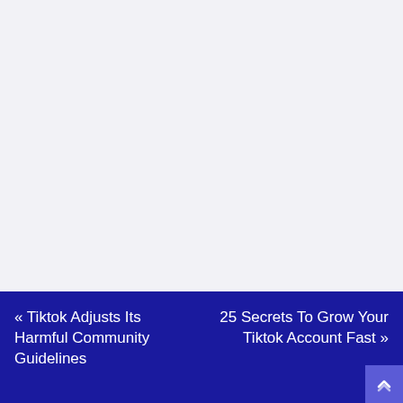« Tiktok Adjusts Its Harmful Community Guidelines
25 Secrets To Grow Your Tiktok Account Fast »